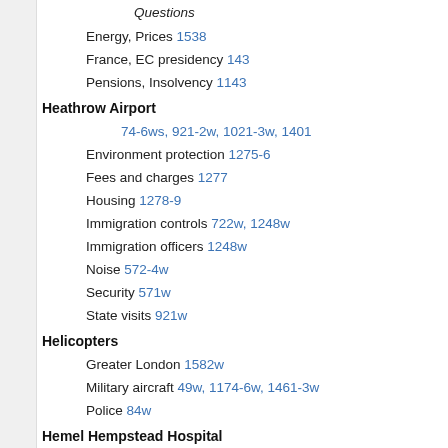Questions
Energy, Prices 1538
France, EC presidency 143
Pensions, Insolvency 1143
Heathrow Airport
74-6ws, 921-2w, 1021-3w, 1401
Environment protection 1275-6
Fees and charges 1277
Housing 1278-9
Immigration controls 722w, 1248w
Immigration officers 1248w
Noise 572-4w
Security 571w
State visits 921w
Helicopters
Greater London 1582w
Military aircraft 49w, 1174-6w, 1461-3w
Police 84w
Hemel Hempstead Hospital